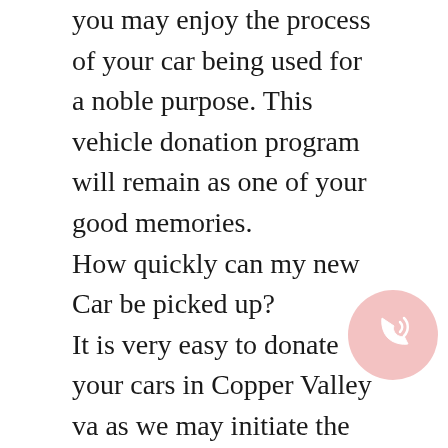you may enjoy the process of your car being used for a noble purpose. This vehicle donation program will remain as one of your good memories.
How quickly can my new Car be picked up?
It is very easy to donate your cars in Copper Valley va as we may initiate the donation program in less than 24 hours. We work around the clock, 24 hours a day, and 7 days a week. Dial our number and call us to schedule an appointment. Our phone number is – 8552718021. For online users, you can also drop us an email including your queries.
Can you pick up my used car, if it's not at my home?
[Figure (illustration): A pink/red circular phone call icon button overlaid on the text]